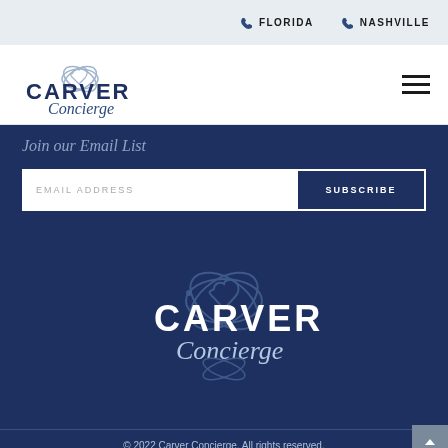FLORIDA   NASHVILLE
[Figure (logo): Carver Concierge logo with heart/atom design, top navigation bar]
Join our Email List
EMAIL ADDRESS   SUBSCRIBE
[Figure (logo): Carver Concierge logo centered on dark navy background]
© 2022 Carver Concierge. All rights reserved.